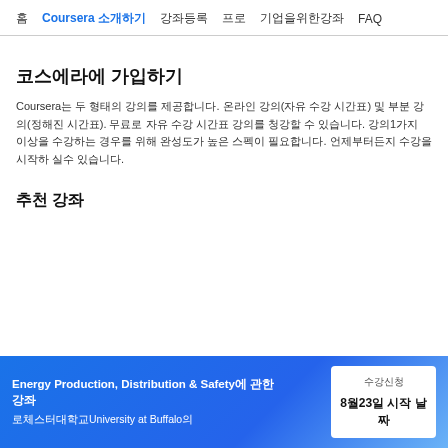홈 | Coursera 소개하기 | 강좌등록 | 프로 | 기업을위한강좌 | FAQ
코스에라에 가입하기
Coursera는 두 형태의 강의를 제공합니다. 온라인 강의(자유 수강 시간표) 및 부분 강의(정해진 시간표). 무료로 자유 수강 시간표 강의를 청강할 수 있습니다. 강의1가지 이상을 수강하는 경우를 위해 완성도가 높은 스펙이 필요합니다. 언제부터든지 수강을 시작하 실수 있습니다.
추천 강좌
Energy Production, Distribution & Safety에 관한
로체스터대학교University at Buffalo의 강좌
수강신청
8월23일 시작 날짜